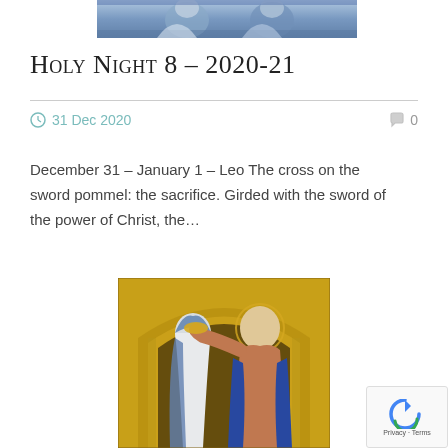[Figure (photo): Top partial image showing blue-toned religious figures or angels]
Holy Night 8 – 2020-21
31 Dec 2020   0
December 31 – January 1 – Leo The cross on the sword pommel: the sacrifice. Girded with the sword of the power of Christ, the…
[Figure (photo): Religious painting showing the Coronation of the Virgin Mary – a figure in white and blue robes being crowned, with golden arch background]